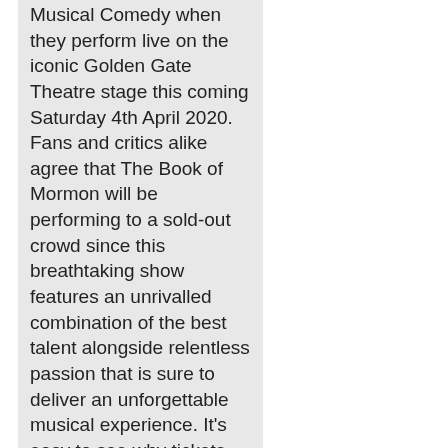Musical Comedy when they perform live on the iconic Golden Gate Theatre stage this coming Saturday 4th April 2020. Fans and critics alike agree that The Book of Mormon will be performing to a sold-out crowd since this breathtaking show features an unrivalled combination of the best talent alongside relentless passion that is sure to deliver an unforgettable musical experience. It's easy to see why tickets are already